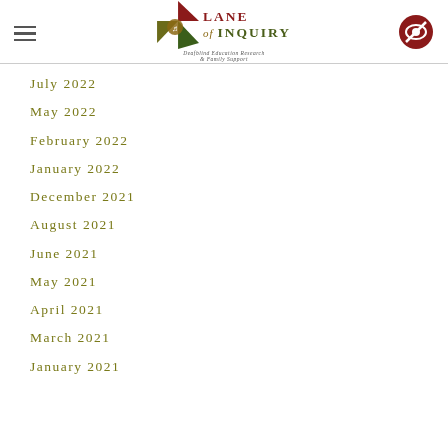[Figure (logo): Lane of Inquiry logo with geometric triangles in red, olive, and green, with an eye icon and text 'Lane of Inquiry / Deafblind Education Research & Family Support']
July 2022
May 2022
February 2022
January 2022
December 2021
August 2021
June 2021
May 2021
April 2021
March 2021
January 2021